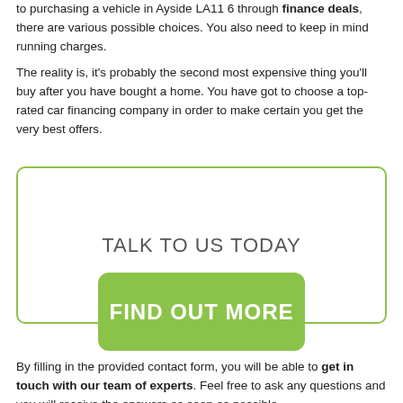to purchasing a vehicle in Ayside LA11 6 through finance deals, there are various possible choices. You also need to keep in mind running charges.
The reality is, it's probably the second most expensive thing you'll buy after you have bought a home. You have got to choose a top-rated car financing company in order to make certain you get the very best offers.
[Figure (infographic): A rounded-rectangle box with green border containing 'TALK TO US TODAY' text, with a green rounded-rectangle button overlapping the bottom edge labeled 'FIND OUT MORE']
By filling in the provided contact form, you will be able to get in touch with our team of experts. Feel free to ask any questions and you will receive the answers as soon as possible.
Our team have an abundance of experience and are able to assist